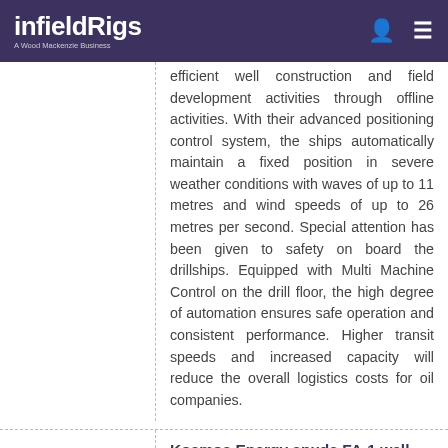infieldRigs — A Wood Mackenzie Business
efficient well construction and field development activities through offline activities. With their advanced positioning control system, the ships automatically maintain a fixed position in severe weather conditions with waves of up to 11 metres and wind speeds of up to 26 metres per second. Special attention has been given to safety on board the drillships. Equipped with Multi Machine Control on the drill floor, the high degree of automation ensures safe operation and consistent performance. Higher transit speeds and increased capacity will reduce the overall logistics costs for oil companies.
Kosmos Energy spuds FA-1 well offshore Morocco
17 Mar 2014
Kosmos Energy Ltd's (Kosmos) partner in the Forum Assaka area in Morocco Fastnet Oil & Gas Plc (Fastnet) has confirmed the spudding of the FA-1 well on the 16th March 2014. The FA-1 well